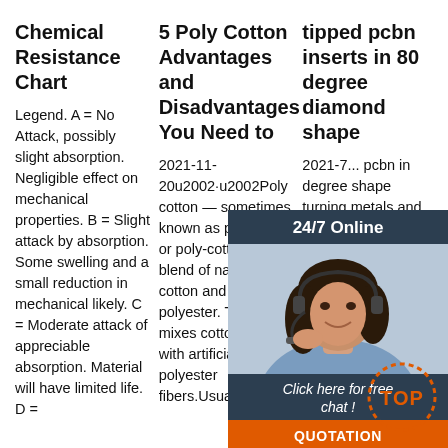Chemical Resistance Chart
Legend. A = No Attack, possibly slight absorption. Negligible effect on mechanical properties. B = Slight attack by absorption. Some swelling and a small reduction in mechanical likely. C = Moderate attack of appreciable absorption. Material will have limited life. D =
5 Poly Cotton Advantages and Disadvantages You Need to
2021-11-20u2002·u2002Poly cotton — sometimes known as polycotton or poly-cotton — is a blend of natural cotton and synthetic polyester. The blend mixes cotton fibers with artificially made polyester fibers.Usually, the
tipped pcbn inserts in 80 degree diamond shape
2021-7... pcbn in degree shape turning metals and ha... steel, t... insert cutting edges are made with polycrystalline cubic boron nitride, indexable
[Figure (photo): Chat support widget with woman wearing headset, dark navy background, '24/7 Online' header, 'Click here for free chat!' text, and orange QUOTATION button]
[Figure (logo): Orange 'TOP' button with dotted circle border in bottom-right corner]